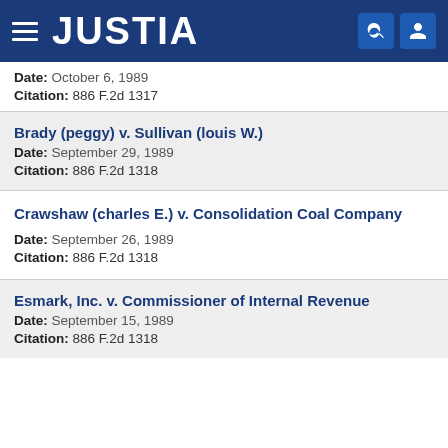JUSTIA
Date: October 6, 1989
Citation: 886 F.2d 1317
Brady (peggy) v. Sullivan (louis W.)
Date: September 29, 1989
Citation: 886 F.2d 1318
Crawshaw (charles E.) v. Consolidation Coal Company
Date: September 26, 1989
Citation: 886 F.2d 1318
Esmark, Inc. v. Commissioner of Internal Revenue
Date: September 15, 1989
Citation: 886 F.2d 1318